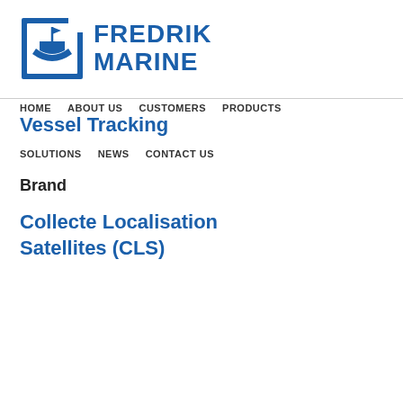[Figure (logo): Fredrik Marine logo: blue square icon with ship/flag graphic on left, bold blue text 'FREDRIK MARINE' on right]
HOME   ABOUT US   CUSTOMERS   PRODUCTS
Vessel Tracking
SOLUTIONS   NEWS   CONTACT US
Brand
Collecte Localisation Satellites (CLS)